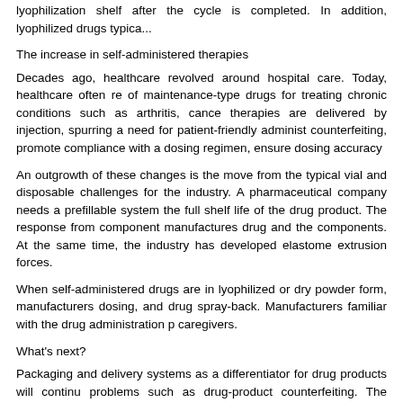lyophilization shelf after the cycle is completed. In addition, lyophilized drugs typica...
The increase in self-administered therapies
Decades ago, healthcare revolved around hospital care. Today, healthcare often re... of maintenance-type drugs for treating chronic conditions such as arthritis, cance... therapies are delivered by injection, spurring a need for patient-friendly administ... counterfeiting, promote compliance with a dosing regimen, ensure dosing accuracy...
An outgrowth of these changes is the move from the typical vial and disposable ... challenges for the industry. A pharmaceutical company needs a prefillable system ... the full shelf life of the drug product. The response from component manufactures ... drug and the components. At the same time, the industry has developed elastome... extrusion forces.
When self-administered drugs are in lyophilized or dry powder form, manufacturers... dosing, and drug spray-back. Manufacturers familiar with the drug administration p... caregivers.
What's next?
Packaging and delivery systems as a differentiator for drug products will continu... problems such as drug-product counterfeiting. The market today is receptive to pac... supply chain. Pharmaceutical seals are an ideal platform for these technologies. T... ultraviolet inks applied to the seal, providing item-level security may be seen. The... material science, we can expect cleaner elastomeric formulations by utilizing BFS ... Twist Tip TM . The coatings with near-total barrier properties e.g., PICVD coatings n...